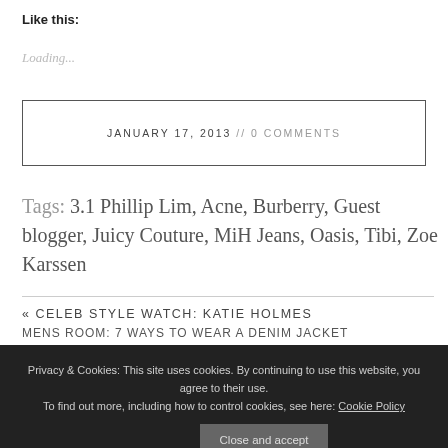Like this:
Loading...
JANUARY 17, 2013 // 0 COMMENTS
Tags: 3.1 Phillip Lim, Acne, Burberry, Guest blogger, Juicy Couture, MiH Jeans, Oasis, Tibi, Zoe Karssen
« CELEB STYLE WATCH: KATIE HOLMES
MENS ROOM: 7 WAYS TO WEAR A DENIM JACKET
Privacy & Cookies: This site uses cookies. By continuing to use this website, you agree to their use. To find out more, including how to control cookies, see here: Cookie Policy
Close and accept